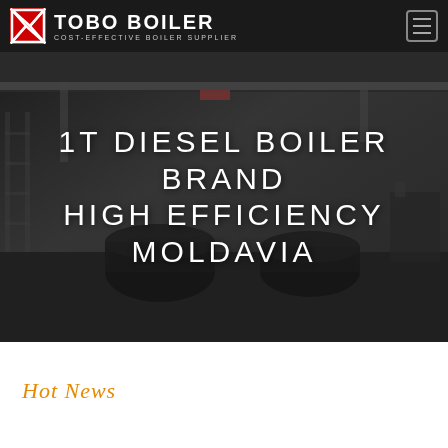TOBO BOILER — COST-EFFECTIVE BOILER SUPPLIER
[Figure (photo): Industrial boiler factory floor with large boiler equipment, overhead crane, and machinery in a warehouse setting. Overlaid with the text: 1T DIESEL BOILER BRAND HIGH EFFICIENCY MOLDAVIA]
1T DIESEL BOILER BRAND HIGH EFFICIENCY MOLDAVIA
Hot News